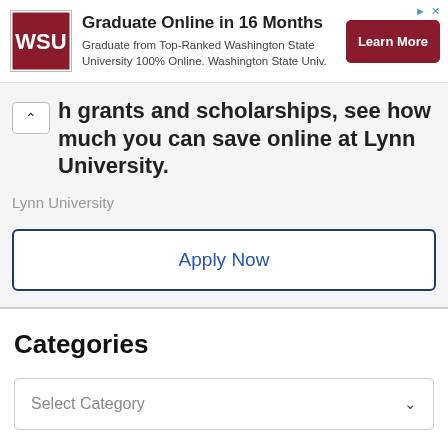[Figure (infographic): Advertisement banner: WSU logo on left, headline 'Graduate Online in 16 Months', subtext 'Graduate from Top-Ranked Washington State University 100% Online. Washington State Univ.', and a dark red 'Learn More' button on the right.]
h grants and scholarships, see how much you can save online at Lynn University.
Lynn University
Apply Now
Categories
Select Category